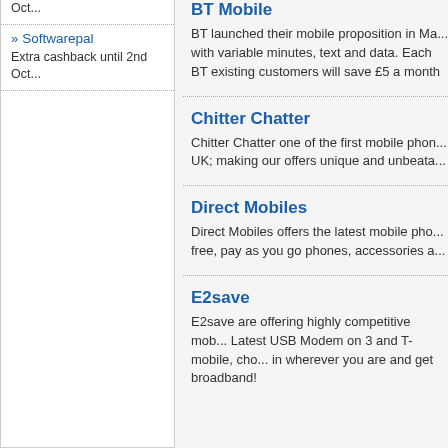Oct...
» Softwarepal
Extra cashback until 2nd Oct...
BT Mobile
BT launched their mobile proposition in Ma... with variable minutes, text and data. Each BT existing customers will save £5 a month
Chitter Chatter
Chitter Chatter one of the first mobile phon... UK; making our offers unique and unbeata...
Direct Mobiles
Direct Mobiles offers the latest mobile pho... free, pay as you go phones, accessories a...
E2save
E2save are offering highly competitive mob... Latest USB Modem on 3 and T-mobile, cho... in wherever you are and get broadband!